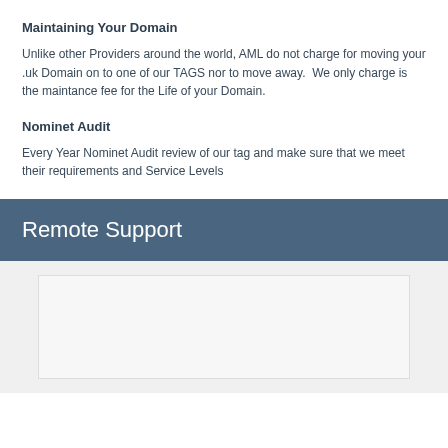Maintaining Your Domain
Unlike other Providers around the world, AML do not charge for moving your .uk Domain on to one of our TAGS nor to move away.  We only charge is the maintance fee for the Life of your Domain.
Nominet Audit
Every Year Nominet Audit review of our tag and make sure that we meet their requirements and Service Levels
Remote Support
[Figure (other): Empty grey content box for remote support widget]